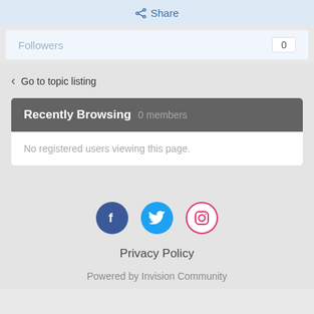Share
Followers  0
< Go to topic listing
Recently Browsing  0 members
No registered users viewing this page.
[Figure (illustration): Social media icons: Facebook (blue circle), Twitter (cyan circle), Instagram (white circle with pink border)]
Privacy Policy
Powered by Invision Community